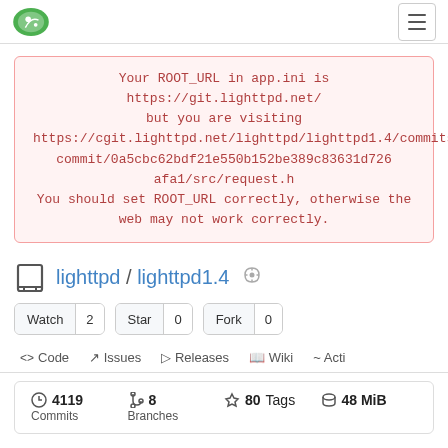Gitea navigation bar with logo and hamburger menu
Your ROOT_URL in app.ini is https://git.lighttpd.net/ but you are visiting https://cgit.lighttpd.net/lighttpd/lighttpd1.4/commits/commit/0a5cbc62bdf21e550b152be389c83631d726afa1/src/request.h You should set ROOT_URL correctly, otherwise the web may not work correctly.
lighttpd / lighttpd1.4
Watch 2  Star 0  Fork 0
<> Code  Issues  Releases  Wiki  Activity
4119 Commits  8 Branches  80 Tags  48 MiB